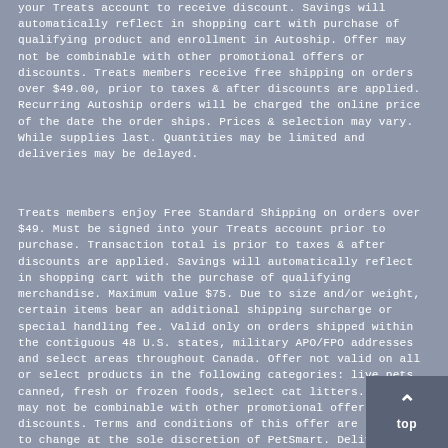your Treats account to receive discount. Savings will automatically reflect in shopping cart with purchase of qualifying product and enrollment in Autoship. Offer may not be combinable with other promotional offers or discounts. Treats members receive free shipping on orders over $49.00, prior to taxes & after discounts are applied. Recurring Autoship orders will be charged the online price of the date the order ships. Prices & selection may vary. While supplies last. Quantities may be limited and deliveries may be delayed.
Treats members enjoy Free Standard Shipping on orders over $49. Must be signed into your Treats account prior to purchase. Transaction total is prior to taxes & after discounts are applied. Savings will automatically reflect in shopping cart with the purchase of qualifying merchandise. Maximum value $75. Due to size and/or weight, certain items bear an additional shipping surcharge or special handling fee. Valid only on orders shipped within the contiguous 48 U.S. states, military APO/FPO addresses and select areas throughout Canada. Offer not valid on all or select products in the following categories: live pets, canned, fresh or frozen foods, select cat litters. Offer may not be combinable with other promotional offers or discounts. Terms and conditions of this offer are subject to change at the sole discretion of PetSmart. Delivery may be delayed due to acts beyond our reasonable control, which may include, but are not